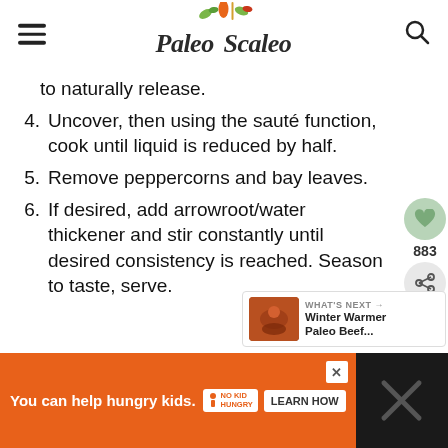Paleo Scaleo
to naturally release.
4. Uncover, then using the sauté function, cook until liquid is reduced by half.
5. Remove peppercorns and bay leaves.
6. If desired, add arrowroot/water thickener and stir constantly until desired consistency is reached. Season to taste, serve.
WHAT'S NEXT → Winter Warmer Paleo Beef...
You can help hungry kids. NO KID HUNGRY LEARN HOW